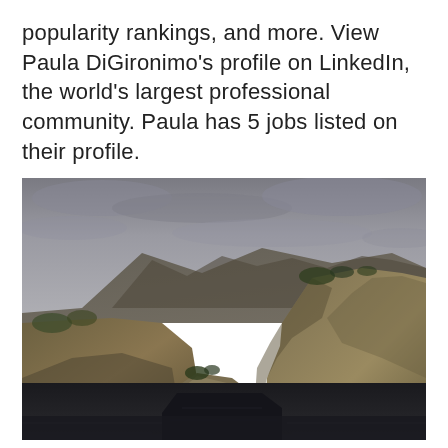popularity rankings, and more. View Paula DiGironimo's profile on LinkedIn, the world's largest professional community. Paula has 5 jobs listed on their profile.
[Figure (photo): Photograph of rocky coastal cliffs and mountains under a dramatic overcast grey sky, with dark calm water in the foreground between the cliff faces. The terrain is arid with sparse vegetation.]